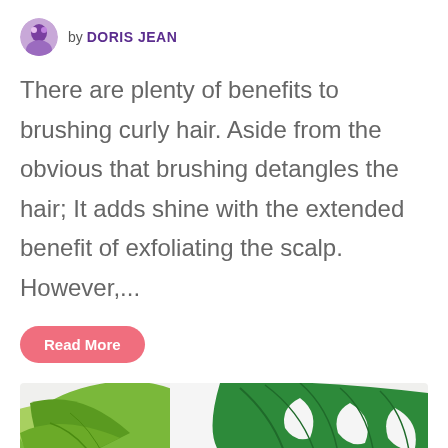by DORIS JEAN
There are plenty of benefits to brushing curly hair. Aside from the obvious that brushing detangles the hair; It adds shine with the extended benefit of exfoliating the scalp. However,...
Read More
[Figure (photo): Two large tropical leaves (monstera and lettuce-edge leaf) on a white background, showing green textures]